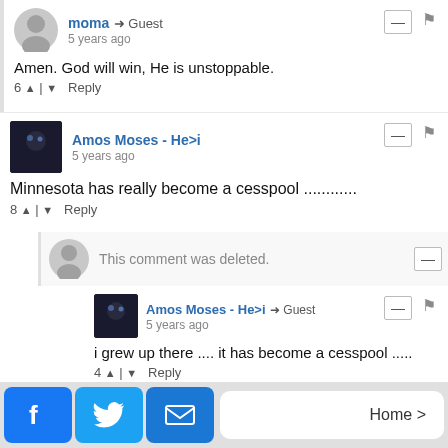moma → Guest
5 years ago
Amen. God will win, He is unstoppable.
6 ^ | v Reply
Amos Moses - He>i
5 years ago
Minnesota has really become a cesspool ............
8 ^ | v Reply
This comment was deleted.
Amos Moses - He>i → Guest
5 years ago
i grew up there .... it has become a cesspool .....
4 ^ | v Reply
This comment was deleted.
Home >